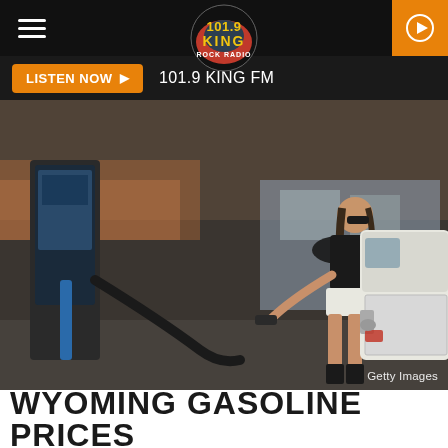101.9 KING FM — navigation bar with hamburger menu, logo, and play button
LISTEN NOW ▶  101.9 KING FM
[Figure (photo): Woman in black top, white shorts, and black boots pumping gas at a gas station next to a white van. Gas pump visible on the left. Getty Images credit shown.]
Getty Images
WYOMING GASOLINE PRICES